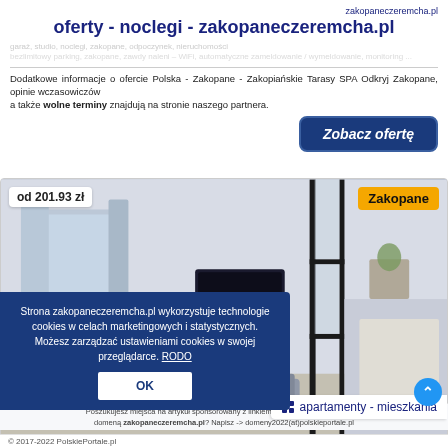zakopaneczeremcha.pl
oferty - noclegi - zakopaneczeremcha.pl
/ wymeldowanie, monitoring ...
Dodatkowe informacje o ofercie Polska - Zakopane - Zakopiańskie Tarasy SPA Odkryj Zakopane, opinie wczasowiczów a także wolne terminy znajdują na stronie naszego partnera.
Zobacz ofertę
od 201.93 zł
Zakopane
[Figure (photo): Interior photo of a modern apartment room with minimalist design, white walls, a wall-mounted TV, black-framed glass partition, and stylish furniture.]
apartamenty - mieszkania
Strona zakopaneczeremcha.pl wykorzystuje technologie cookies w celach marketingowych i statystycznych. Możesz zarządzać ustawieniami cookies w swojej przeglądarce. RODO
OK
Poszukujesz miejsca na artykuł sponsorowany z linkiem? Jesteś zainteresowany tą domeną zakopaneczeremcha.pl? Napisz -> domeny2022(at)polskieportale.pl
© 2017-2022 PolskiePortale.pl